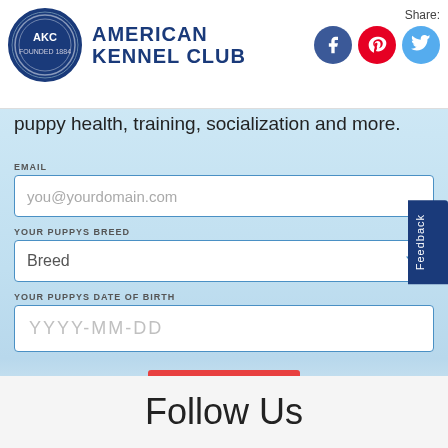[Figure (logo): American Kennel Club circular logo with AKC text]
American Kennel Club
Share:
[Figure (infographic): Social media share icons: Facebook (blue circle), Pinterest (red circle), Twitter (light blue circle)]
puppy health, training, socialization and more.
EMAIL
you@yourdomain.com
YOUR PUPPYS BREED
Breed
YOUR PUPPYS DATE OF BIRTH
YYYY-MM-DD
SIGN UP
For all AKC Newsletters, click here
AKC Privacy Policy
Follow Us